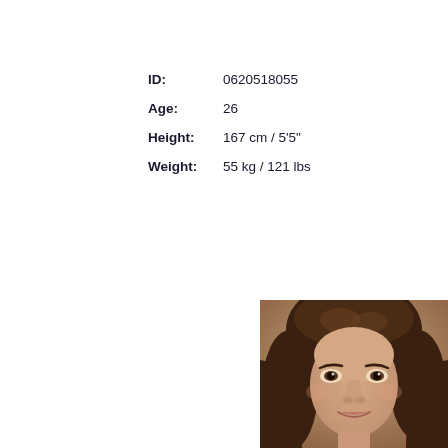ID: 0620518055
Age: 26
Height: 167 cm / 5'5"
Weight: 55 kg / 121 lbs
[Figure (photo): Portrait photo of a young woman with long dark brown hair, visible from the top of the head down to approximately chin/neck level, positioned in the lower-right area of the page.]